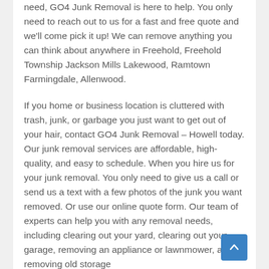need, GO4 Junk Removal is here to help. You only need to reach out to us for a fast and free quote and we'll come pick it up! We can remove anything you can think about anywhere in Freehold, Freehold Township Jackson Mills Lakewood, Ramtown Farmingdale, Allenwood.
If you home or business location is cluttered with trash, junk, or garbage you just want to get out of your hair, contact GO4 Junk Removal – Howell today. Our junk removal services are affordable, high-quality, and easy to schedule. When you hire us for your junk removal. You only need to give us a call or send us a text with a few photos of the junk you want removed. Or use our online quote form. Our team of experts can help you with any removal needs, including clearing out your yard, clearing out your garage, removing an appliance or lawnmower, and removing old storage